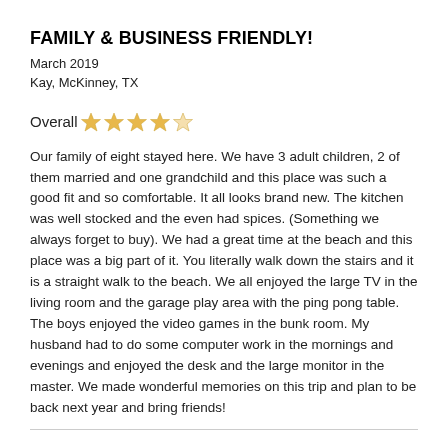FAMILY & BUSINESS FRIENDLY!
March 2019
Kay, McKinney, TX
Overall ★★★★★
Our family of eight stayed here. We have 3 adult children, 2 of them married and one grandchild and this place was such a good fit and so comfortable. It all looks brand new. The kitchen was well stocked and the even had spices. (Something we always forget to buy). We had a great time at the beach and this place was a big part of it. You literally walk down the stairs and it is a straight walk to the beach. We all enjoyed the large TV in the living room and the garage play area with the ping pong table. The boys enjoyed the video games in the bunk room. My husband had to do some computer work in the mornings and evenings and enjoyed the desk and the large monitor in the master. We made wonderful memories on this trip and plan to be back next year and bring friends!